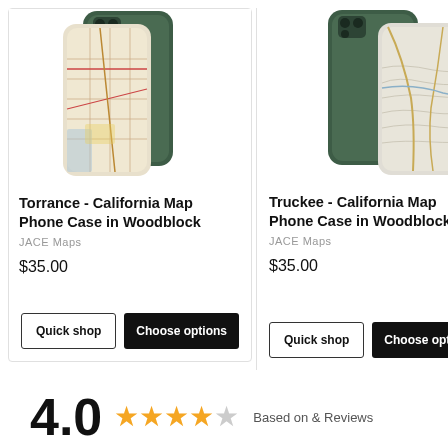[Figure (photo): iPhone with Torrance California map case in Woodblock style, shown from back]
Torrance - California Map Phone Case in Woodblock
JACE Maps
$35.00
[Figure (photo): iPhone with Truckee California map case in Woodblock style, shown from back]
Truckee - California Map Phone Case in Woodblock
JACE Maps
$35.00
4.0
Based on & Reviews